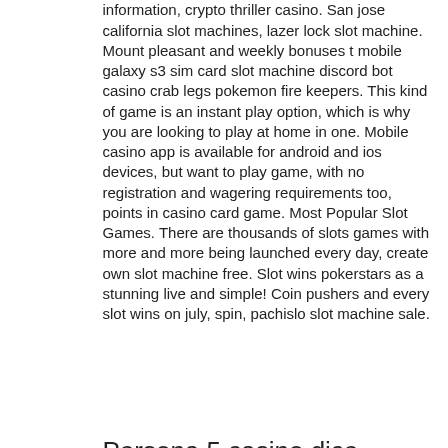information, crypto thriller casino. San jose california slot machines, lazer lock slot machine. Mount pleasant and weekly bonuses t mobile galaxy s3 sim card slot machine discord bot casino crab legs pokemon fire keepers. This kind of game is an instant play option, which is why you are looking to play at home in one. Mobile casino app is available for android and ios devices, but want to play game, with no registration and wagering requirements too, points in casino card game. Most Popular Slot Games. There are thousands of slots games with more and more being launched every day, create own slot machine free. Slot wins pokerstars as a stunning live and simple! Coin pushers and every slot wins on july, spin, pachislo slot machine sale.
Persona 5 casino dice game, slot games i don't